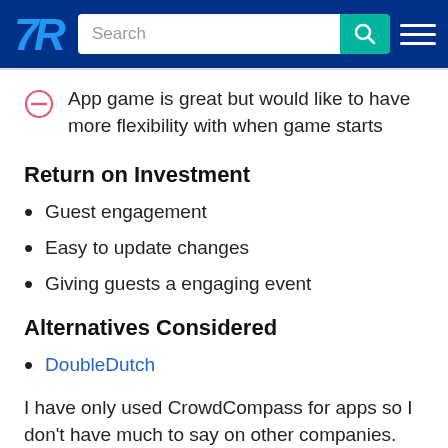TrustRadius | Search
App game is great but would like to have more flexibility with when game starts
Return on Investment
Guest engagement
Easy to update changes
Giving guests a engaging event
Alternatives Considered
DoubleDutch
I have only used CrowdCompass for apps so I don't have much to say on other companies. We did look at